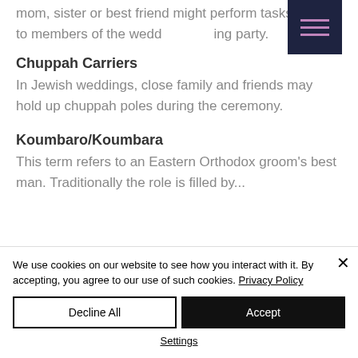mom, sister or best friend might perform tasks similar to members of the wedding party.
Chuppah Carriers
In Jewish weddings, close family and friends may hold up chuppah poles during the ceremony.
Koumbaro/Koumbara
This term refers to an Eastern Orthodox groom's best man. Traditionally the role is filled by...
[Figure (screenshot): Dark navy hamburger menu icon button with three pink/purple horizontal lines]
We use cookies on our website to see how you interact with it. By accepting, you agree to our use of such cookies. Privacy Policy
Decline All
Accept
Settings